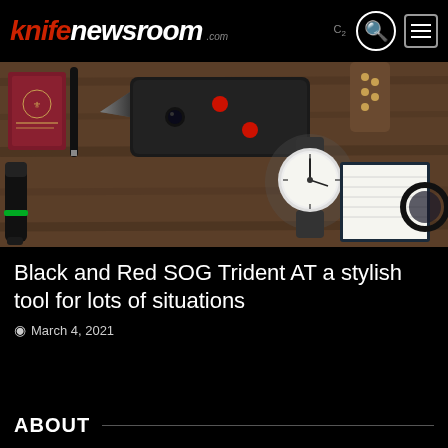knifenewsroom.com
[Figure (photo): Flat lay photo on wooden surface showing a black tactical knife/multitool with red accents, a flashlight with green ring, a passport, a watch with leather strap, a notebook, and glasses]
Black and Red SOG Trident AT a stylish tool for lots of situations
March 4, 2021
ABOUT
knifenewsroom.com is the place to find information about cutlery of